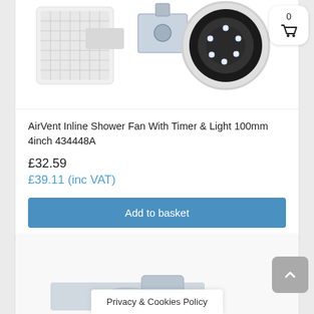[Figure (photo): Product photo showing AirVent Inline Shower Fan components including a square grille, mounting bracket, and a round inline fan unit]
AirVent Inline Shower Fan With Timer & Light 100mm 4inch 434448A
£32.59
£39.11 (inc VAT)
Add to basket
[Figure (photo): Partial product image visible at bottom of page, appears to be another fan or ventilation product]
Privacy & Cookies Policy